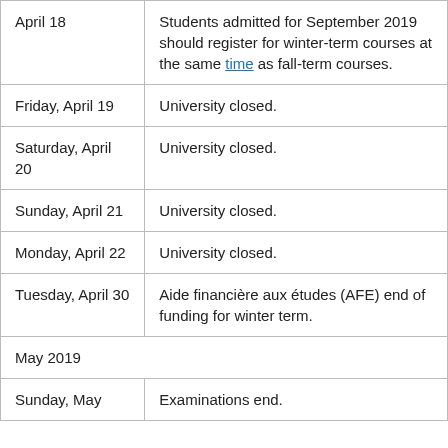| Date | Event |
| --- | --- |
| April 18 | Students admitted for September 2019 should register for winter-term courses at the same time as fall-term courses. |
| Friday, April 19 | University closed. |
| Saturday, April 20 | University closed. |
| Sunday, April 21 | University closed. |
| Monday, April 22 | University closed. |
| Tuesday, April 30 | Aide financière aux études (AFE) end of funding for winter term. |
| May 2019 |  |
| Sunday, May ... | Examinations end. |